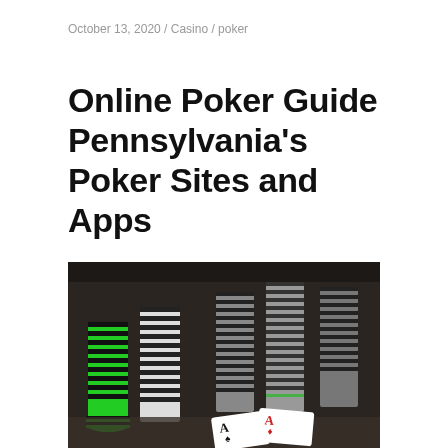October 13, 2020 / Casino / poker
Online Poker Guide Pennsylvania’s Poker Sites and Apps
[Figure (photo): Stacks of poker chips in black, white, and green colors with two playing cards (Ace of spades and Ace of diamonds) visible in the foreground on a dark background]